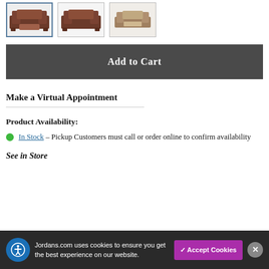[Figure (photo): Three thumbnail images of furniture sets (living room/dining sets), first one selected with blue border]
Add to Cart
Make a Virtual Appointment
Product Availability:
In Stock – Pickup Customers must call or order online to confirm availability
See in Store
Jordans.com uses cookies to ensure you get the best experience on our website.
✓ Accept Cookies